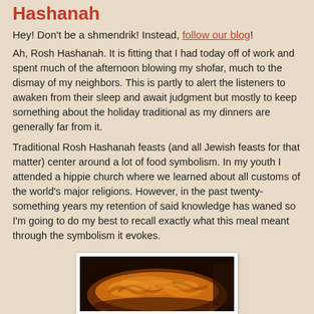Hashanah
Hey! Don't be a shmendrik! Instead, follow our blog!
Ah, Rosh Hashanah. It is fitting that I had today off of work and spent much of the afternoon blowing my shofar, much to the dismay of my neighbors. This is partly to alert the listeners to awaken from their sleep and await judgment but mostly to keep something about the holiday traditional as my dinners are generally far from it.
Traditional Rosh Hashanah feasts (and all Jewish feasts for that matter) center around a lot of food symbolism. In my youth I attended a hippie church where we learned about all customs of the world's major religions. However, in the past twenty-something years my retention of said knowledge has waned so I'm going to do my best to recall exactly what this meal meant through the symbolism it evokes.
[Figure (photo): A close-up photograph of a braided challah bread loaf with a golden-brown shiny crust, on a dark background with a white-bordered frame.]